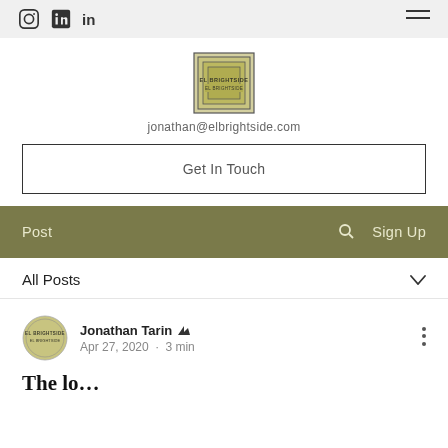Instagram LinkedIn menu
[Figure (logo): El Brightside logo — square nested rectangles design with text EL BRIGHTSIDE]
jonathan@elbrightside.com
Get In Touch
Post | search icon | Sign Up
All Posts
Jonathan Tarin [admin crown] Apr 27, 2020 · 3 min
The lo…